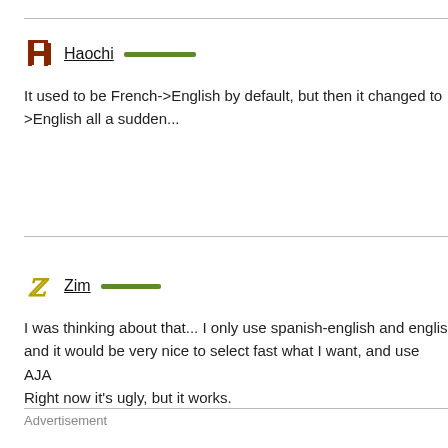Haochi
It used to be French->English by default, but then it changed to >English all a sudden...
Zim
I was thinking about that... I only use spanish-english and english and it would be very nice to select fast what I want, and use AJA Right now it's ugly, but it works.
Advertisement